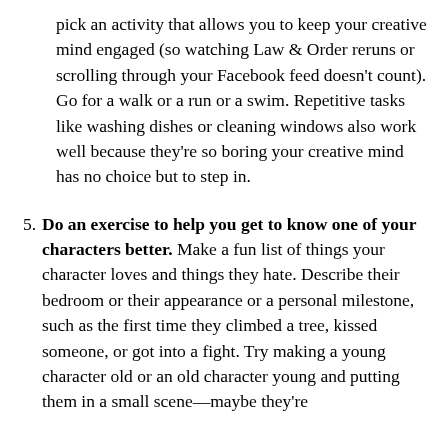pick an activity that allows you to keep your creative mind engaged (so watching Law & Order reruns or scrolling through your Facebook feed doesn't count). Go for a walk or a run or a swim. Repetitive tasks like washing dishes or cleaning windows also work well because they're so boring your creative mind has no choice but to step in.
5. Do an exercise to help you get to know one of your characters better. Make a fun list of things your character loves and things they hate. Describe their bedroom or their appearance or a personal milestone, such as the first time they climbed a tree, kissed someone, or got into a fight. Try making a young character old or an old character young and putting them in a small scene—maybe they're